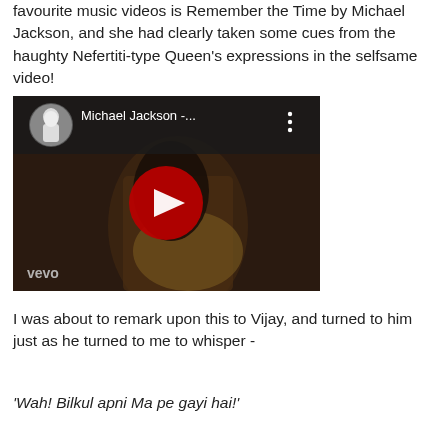favourite music videos is Remember the Time by Michael Jackson, and she had clearly taken some cues from the haughty Nefertiti-type Queen's expressions in the selfsame video!
[Figure (screenshot): YouTube video thumbnail for Michael Jackson - Remember the Time (Vevo), showing a dark-toned still with a woman in golden fabric, a circular profile image of Michael Jackson top-left, video title 'Michael Jackson -...' with a three-dot menu icon, a red play button in the center, and 'vevo' watermark bottom-left.]
I was about to remark upon this to Vijay, and turned to him just as he turned to me to whisper -
'Wah! Bilkul apni Ma pe gayi hai!'